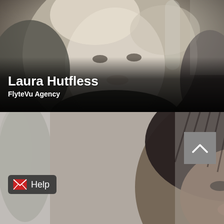[Figure (photo): Black and white portrait photo of Laura Hutfless, a woman with blonde highlighted hair, looking at the camera with a slight smile. Dark gradient overlay at the bottom.]
Laura Hutfless
FlyteVu Agency
[Figure (photo): Black and white portrait photo of a second woman with braided/dreadlocked hair, partially visible, smiling. A decorative plant is visible on the left side. A Help button with envelope icon is in the lower left, and a scroll-to-top button (chevron up) is in the upper right.]
Help